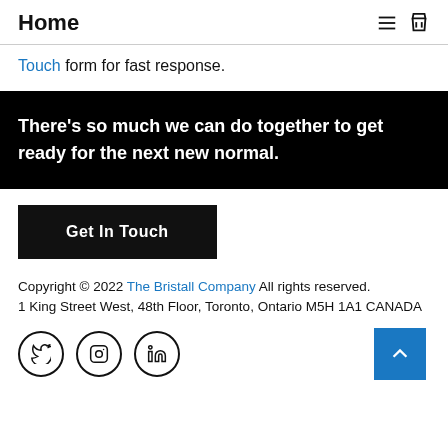Home
Touch form for fast response.
There's so much we can do together to get ready for the next new normal.
Get In Touch
Copyright © 2022 The Bristall Company All rights reserved.
1 King Street West, 48th Floor, Toronto, Ontario M5H 1A1 CANADA
[Figure (illustration): Twitter, Instagram, and LinkedIn social media icons in circles, and a blue back-to-top button with upward chevron]